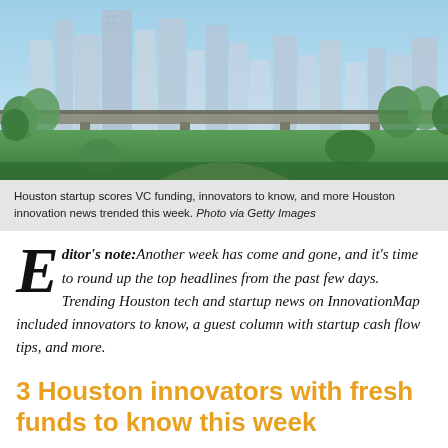[Figure (photo): Aerial/street view of Houston city skyline with skyscrapers, green trees, a bridge or overpass, and park greenery in the foreground under a blue sky.]
Houston startup scores VC funding, innovators to know, and more Houston innovation news trended this week. Photo via Getty Images
Editor's note: Another week has come and gone, and it's time to round up the top headlines from the past few days. Trending Houston tech and startup news on InnovationMap included innovators to know, a guest column with startup cash flow tips, and more.
3 Houston innovators with fresh funds to know this week
[Figure (photo): Three portrait photos of Houston innovators partially visible at the bottom of the page.]